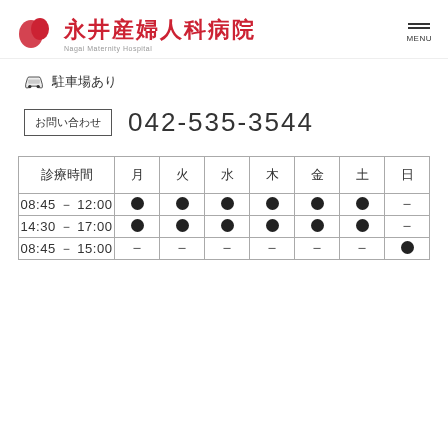永井産婦人科病院
🚗 駐車場あり
お問い合わせ  042-535-3544
| 診療時間 | 月 | 火 | 水 | 木 | 金 | 土 | 日 |
| --- | --- | --- | --- | --- | --- | --- | --- |
| 08:45 - 12:00 | ● | ● | ● | ● | ● | ● | － |
| 14:30 - 17:00 | ● | ● | ● | ● | ● | ● | － |
| 08:45 - 15:00 | － | － | － | － | － | － | ● |